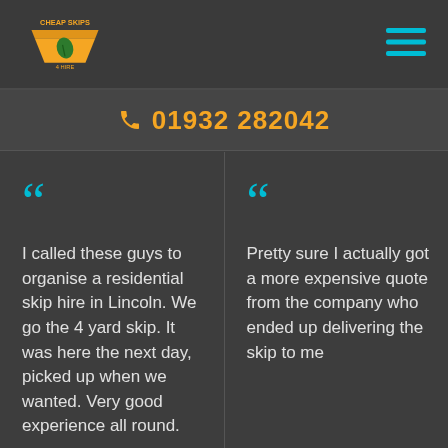[Figure (logo): Cheap Skips 4 Hire logo with yellow skip and leaf icon]
☰ (hamburger menu icon in cyan)
📞 01932 282042
"I called these guys to organise a residential skip hire in Lincoln. We go the 4 yard skip. It was here the next day, picked up when we wanted. Very good experience all round.
"Pretty sure I actually got a more expensive quote from the company who ended up delivering the skip to me